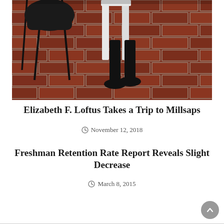[Figure (photo): Photo of a brick patio/floor with a black metal chair, a black handbag, a white chair, and a person's feet wearing black shoes. The floor is red/terracotta brick.]
Elizabeth F. Loftus Takes a Trip to Millsaps
November 12, 2018
Freshman Retention Rate Report Reveals Slight Decrease
March 8, 2015